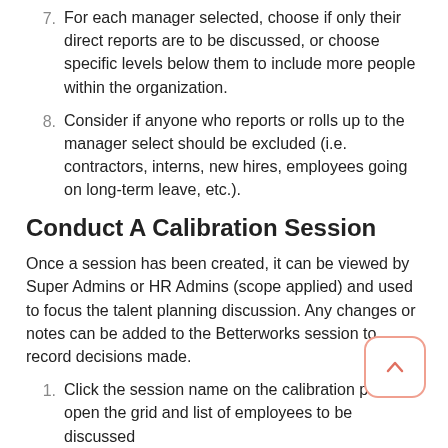7. For each manager selected, choose if only their direct reports are to be discussed, or choose specific levels below them to include more people within the organization.
8. Consider if anyone who reports or rolls up to the manager select should be excluded (i.e. contractors, interns, new hires, employees going on long-term leave, etc.).
Conduct A Calibration Session
Once a session has been created, it can be viewed by Super Admins or HR Admins (scope applied) and used to focus the talent planning discussion. Any changes or notes can be added to the Betterworks session to record decisions made.
1. Click the session name on the calibration page to open the grid and list of employees to be discussed